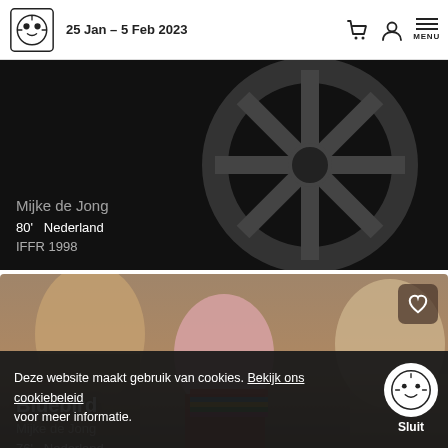25 Jan – 5 Feb 2023
[Figure (screenshot): Film card with dark/black background showing graphic wheel design. Director: Mijke de Jong, 80 min, Nederland, IFFR 1998]
[Figure (screenshot): Film card for Bluebird showing a young girl in colorful striped scarf between two other people. Director: Mijke de Jong, 76 min, Nederland, IFFR 2005]
[Figure (screenshot): Film card for Stop Acting Now showing crowd scene with cars. Director: Mijke de Jong, 82 min, Nederland, IFFR 2016]
Deze website maakt gebruik van cookies. Bekijk ons cookiebeleid voor meer informatie.